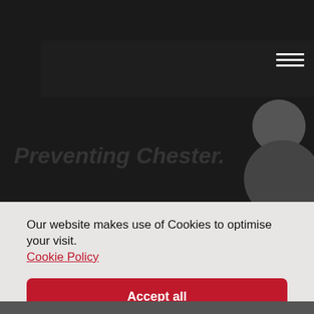[Figure (photo): Dark background with a navigation bar containing a hamburger menu icon on the right, and a partial silhouette of a person on the right side.]
Our website makes use of Cookies to optimise your visit.
Cookie Policy
Accept all
Functional only
View preferences